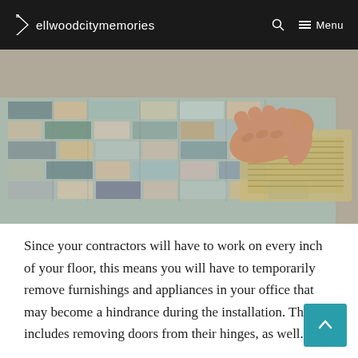ellwoodcitymemories  🔍  ≡ Menu
[Figure (photo): A person's hand pressing down on a mosaic stone tile being laid on a floor with adhesive/mortar underneath, showing tile installation in progress.]
Since your contractors will have to work on every inch of your floor, this means you will have to temporarily remove furnishings and appliances in your office that may become a hindrance during the installation. This includes removing doors from their hinges, as well.